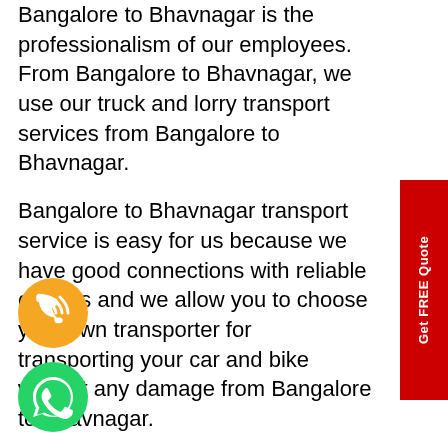Bangalore to Bhavnagar is the professionalism of our employees. From Bangalore to Bhavnagar, we use our truck and lorry transport services from Bangalore to Bhavnagar.
Bangalore to Bhavnagar transport service is easy for us because we have good connections with reliable carriers and we allow you to choose your own transporter for transporting your car and bike without any damage from Bangalore to Bhavnagar.
You can get complete information about transport services from Bangalore to Bhavnagar through us. We also provide the prices so you can find one that is within your budget and offers the most transport service from Bangalore to Bhavnagar.
It's that time of year when you're looking for movers from Bangalore to Bhavnagar. The first item on your mind is relocating your belongings. We can relocate you quickly to any
[Figure (illustration): Orange circular phone/call icon with wifi-like signal lines]
[Figure (illustration): Green circular WhatsApp icon with phone handset]